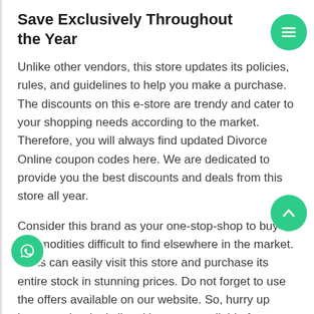Save Exclusively Throughout the Year
Unlike other vendors, this store updates its policies, rules, and guidelines to help you make a purchase. The discounts on this e-store are trendy and cater to your shopping needs according to the market. Therefore, you will always find updated Divorce Online coupon codes here. We are dedicated to provide you the best discounts and deals from this store all year.
Consider this brand as your one-stop-shop to buy commodities difficult to find elsewhere in the market. Folks can easily visit this store and purchase its entire stock in stunning prices. Do not forget to use the offers available on our website. So, hurry up because the deals listed here are available for a limited time pe...
Nowadays, competition has taken hold of everything in ecommerce shopping industry. Retailers are busy in owning huge shopping stores to outpace others.